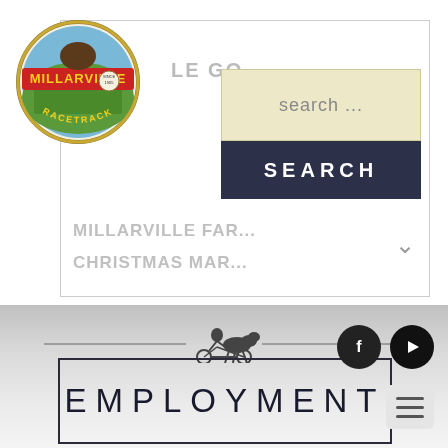[Figure (logo): Millarville Racetrack circular logo with horse rider, farm scene, banner text MILLARVILLE, SINCE 1905]
[Figure (screenshot): Website navigation box with search input field showing 'search ...' placeholder, dark SEARCH button, nav items MILLARVILLE FAR... and CHRISTMAS MAR... with dropdown arrow]
[Figure (other): Social media icons: Facebook (f) and YouTube (play button) in dark circles, and hamburger menu icon in light gray box]
[Figure (illustration): Small decorative illustration of horse and buggy/sulky above horizontal lines flanking it]
EMPLOYMENT